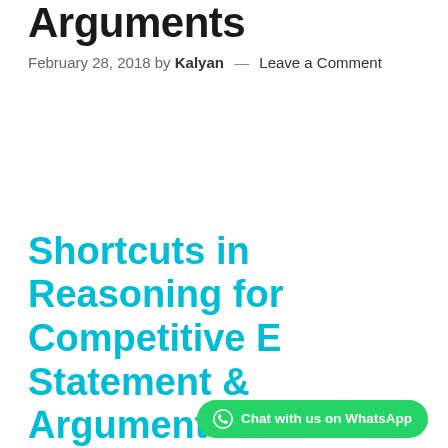Arguments
February 28, 2018 by Kalyan — Leave a Comment
Shortcuts in Reasoning for Competitive E... Statement & Arguments
[Figure (other): WhatsApp chat button overlay with text 'Chat with us on WhatsApp']